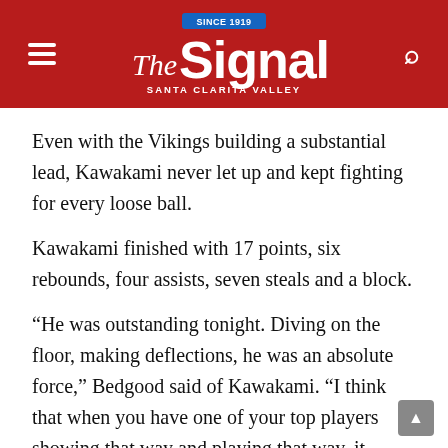The Signal — Santa Clarita Valley
Even with the Vikings building a substantial lead, Kawakami never let up and kept fighting for every loose ball.
Kawakami finished with 17 points, six rebounds, four assists, seven steals and a block.
“He was outstanding tonight. Diving on the floor, making deflections, he was an absolute force,” Bedgood said of Kawakami. “I think that when you have one of your top players showing that way and playing that way, it elevates everybody else’s game. He pulls the best version of those guys out of